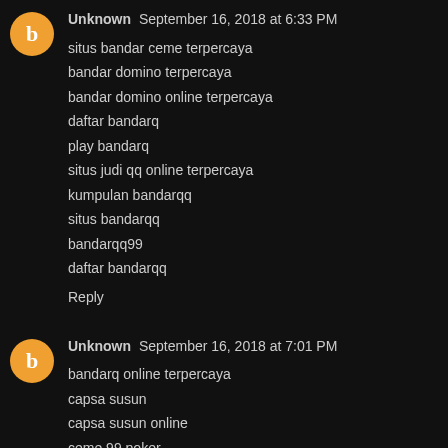Unknown September 16, 2018 at 6:33 PM
situs bandar ceme terpercaya
bandar domino terpercaya
bandar domino online terpercaya
daftar bandarq
play bandarq
situs judi qq online terpercaya
kumpulan bandarqq
situs bandarqq
bandarqq99
daftar bandarqq
Reply
Unknown September 16, 2018 at 7:01 PM
bandarq online terpercaya
capsa susun
capsa susun online
ceme 99 poker
ceme 99 online
ceme jackpot
daftar bandar ceme
daftar bandar ceme online
daftar bandarq
daftar ceme online
Reply